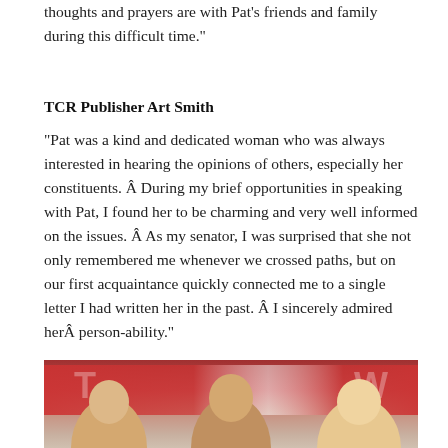thoughts and prayers are with Pat’s friends and family during this difficult time.”
TCR Publisher Art Smith
“Pat was a kind and dedicated woman who was always interested in hearing the opinions of others, especially her constituents. Â During my brief opportunities in speaking with Pat, I found her to be charming and very well informed on the issues. Â As my senator, I was surprised that she not only remembered me whenever we crossed paths, but on our first acquaintance quickly connected me to a single letter I had written her in the past. Â I sincerely admired herÂ person-ability.”
[Figure (photo): A photograph showing people at what appears to be a public event with a red and white backdrop, with multiple individuals visible from the shoulders up.]